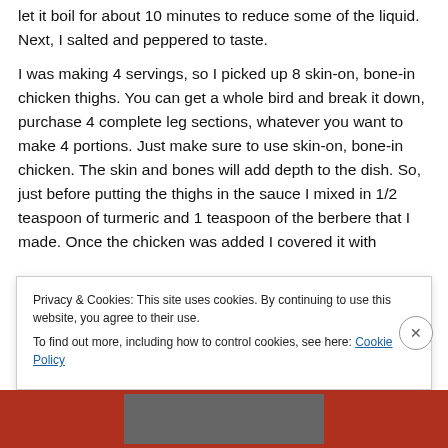let it boil for about 10 minutes to reduce some of the liquid. Next, I salted and peppered to taste.
I was making 4 servings, so I picked up 8 skin-on, bone-in chicken thighs. You can get a whole bird and break it down, purchase 4 complete leg sections, whatever you want to make 4 portions. Just make sure to use skin-on, bone-in chicken. The skin and bones will add depth to the dish. So, just before putting the thighs in the sauce I mixed in 1/2 teaspoon of turmeric and 1 teaspoon of the berbere that I made. Once the chicken was added I covered it with the sauce, turned the heat down, and let it simmer for an
Privacy & Cookies: This site uses cookies. By continuing to use this website, you agree to their use. To find out more, including how to control cookies, see here: Cookie Policy
Close and accept